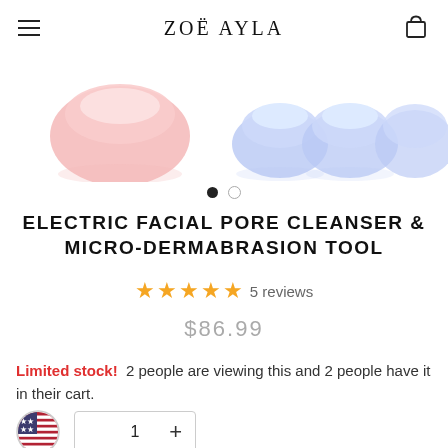ZOË AYLA
[Figure (photo): Product image showing facial cleansing devices — a pink one and multiple blue ones arranged in a row]
ELECTRIC FACIAL PORE CLEANSER & MICRO-DERMABRASION TOOL
★★★★★ 5 reviews
$86.99
Limited stock! 2 people are viewing this and 2 people have it in their cart.
1 +